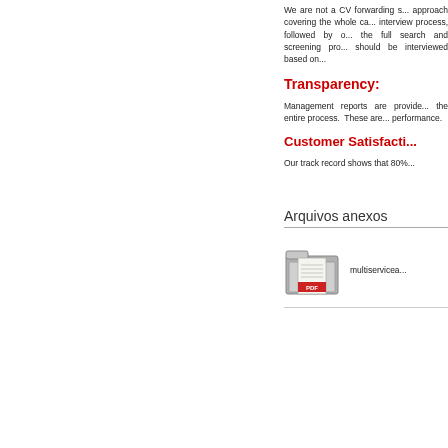We are not a CV forwarding s... approach covering the whole ca... interview process, followed by o... the full search and screening pro... should be interviewed based on...
Transparency:
Management reports are provide... the entire process. These are... performance.
Customer Satisfacti...
Our track record shows that 80%...
Arquivos anexos
[Figure (other): PDF folder icon attachment]
multiservicea...